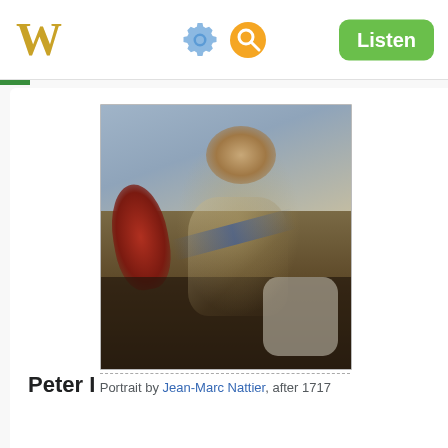W  [gear icon] [search icon]  Listen
Peter I
[Figure (photo): Portrait painting of Peter I (Peter the Great) in armour with a blue sash, holding a helmet, with a red feathered plume and battle scene in the background. Oil painting by Jean-Marc Nattier, after 1717.]
Portrait by Jean-Marc Nattier, after 1717